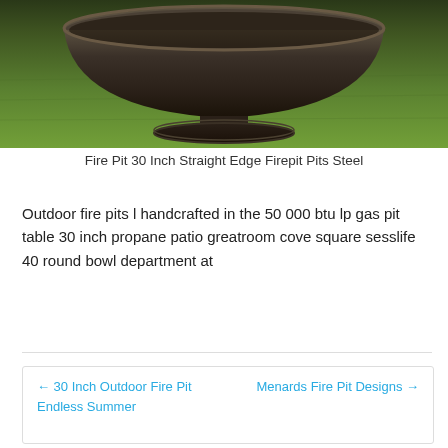[Figure (photo): A dark metal fire pit bowl on a pedestal base sitting on green grass, photographed from slightly above.]
Fire Pit 30 Inch Straight Edge Firepit Pits Steel
Outdoor fire pits l handcrafted in the 50 000 btu lp gas pit table 30 inch propane patio greatroom cove square sesslife 40 round bowl department at
← 30 Inch Outdoor Fire Pit Endless Summer
Menards Fire Pit Designs →